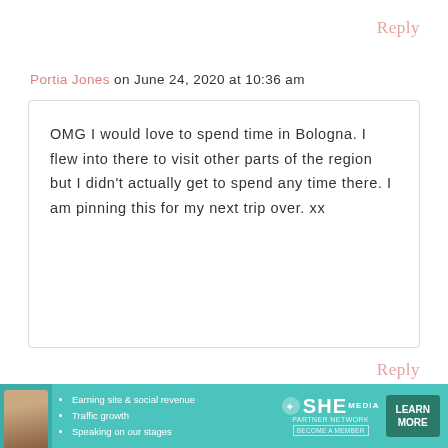Reply
Portia Jones on June 24, 2020 at 10:36 am
OMG I would love to spend time in Bologna. I flew into there to visit other parts of the region but I didn't actually get to spend any time there. I am pinning this for my next trip over. xx
Reply
Taylor Deer on June 24, 2020 at 5:00 pm
[Figure (infographic): SHE Media Partner Network advertisement banner with photo of woman, bullet points about earning site & social revenue, traffic growth, speaking on stages, SHE Media logo, and LEARN MORE button]